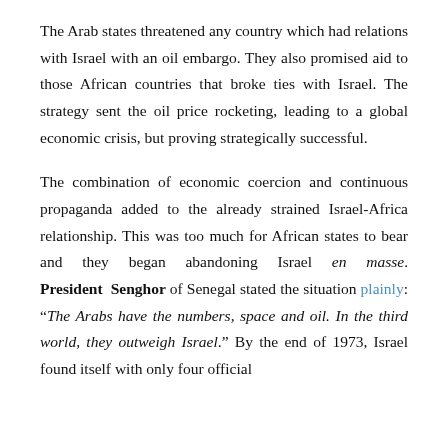The Arab states threatened any country which had relations with Israel with an oil embargo. They also promised aid to those African countries that broke ties with Israel. The strategy sent the oil price rocketing, leading to a global economic crisis, but proving strategically successful.
The combination of economic coercion and continuous propaganda added to the already strained Israel-Africa relationship. This was too much for African states to bear and they began abandoning Israel en masse. President Senghor of Senegal stated the situation plainly: “The Arabs have the numbers, space and oil. In the third world, they outweigh Israel.” By the end of 1973, Israel found itself with only four official